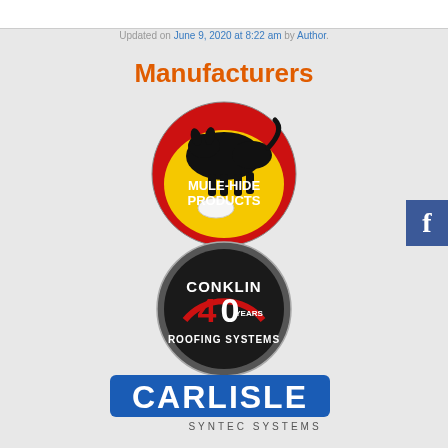Updated on June 9, 2020 at 8:22 am by Author.
Manufacturers
[Figure (logo): Mule-Hide Products logo — circular logo with a mule silhouette in black on red and yellow background]
[Figure (logo): Conklin 40 Years Roofing Systems logo — circular black badge with red and white text]
[Figure (logo): Carlisle Syntec Systems logo — blue stylized wordmark with CARLISLE in bold blue letters and SYNTEC SYSTEMS below]